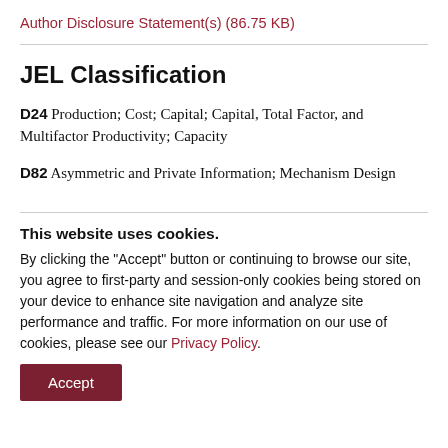Author Disclosure Statement(s) (86.75 KB)
JEL Classification
D24 Production; Cost; Capital; Capital, Total Factor, and Multifactor Productivity; Capacity
D82 Asymmetric and Private Information; Mechanism Design
This website uses cookies. By clicking the "Accept" button or continuing to browse our site, you agree to first-party and session-only cookies being stored on your device to enhance site navigation and analyze site performance and traffic. For more information on our use of cookies, please see our Privacy Policy.